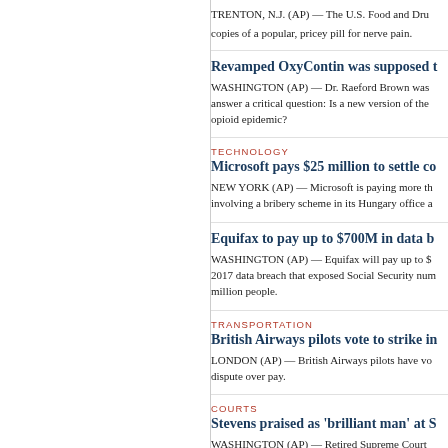TRENTON, N.J. (AP) — The U.S. Food and Drug Administration has approved the first generic copies of a popular, pricey pill for nerve pain.
Revamped OxyContin was supposed t…
WASHINGTON (AP) — Dr. Raeford Brown was asked to answer a critical question: Is a new version of the opioid epidemic?
TECHNOLOGY
Microsoft pays $25 million to settle co…
NEW YORK (AP) — Microsoft is paying more than $25 million involving a bribery scheme in its Hungary office a…
Equifax to pay up to $700M in data b…
WASHINGTON (AP) — Equifax will pay up to $700 million over a 2017 data breach that exposed Social Security numbers of million people.
TRANSPORTATION
British Airways pilots vote to strike in…
LONDON (AP) — British Airways pilots have voted to dispute over pay.
COURTS
Stevens praised as 'brilliant man' at S…
WASHINGTON (AP) — Retired Supreme Court…